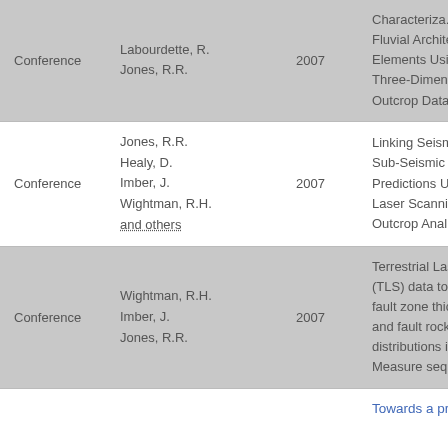| Type | Authors | Year | Title |
| --- | --- | --- | --- |
| Conference | Labourdette, R.
Jones, R.R. | 2007 | Characterization of Fluvial Architecture Elements Using Three-Dimensional Outcrop Data... |
| Conference | Jones, R.R.
Healy, D.
Imber, J.
Wightman, R.H.
and others | 2007 | Linking Seismic Sub-Seismic Fault Predictions Using Laser Scanning Outcrop Analogue... |
| Conference | Wightman, R.H.
Imber, J.
Jones, R.R. | 2007 | Terrestrial Laser Scanning (TLS) data to characterise fault zone thicknesses and fault rock distributions in Old Red Sandstone Measure sequences... |
Towards a pre...